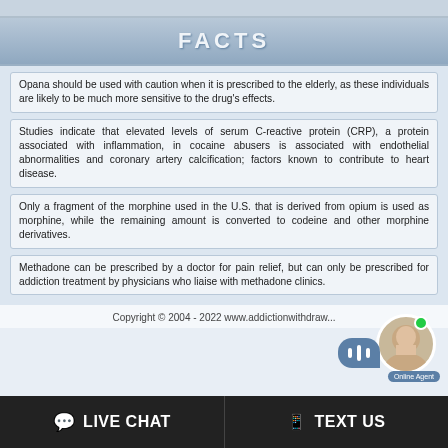FACTS
Opana should be used with caution when it is prescribed to the elderly, as these individuals are likely to be much more sensitive to the drug's effects.
Studies indicate that elevated levels of serum C-reactive protein (CRP), a protein associated with inflammation, in cocaine abusers is associated with endothelial abnormalities and coronary artery calcification; factors known to contribute to heart disease.
Only a fragment of the morphine used in the U.S. that is derived from opium is used as morphine, while the remaining amount is converted to codeine and other morphine derivatives.
Methadone can be prescribed by a doctor for pain relief, but can only be prescribed for addiction treatment by physicians who liaise with methadone clinics.
Copyright © 2004 - 2022 www.addictionwithdraw...